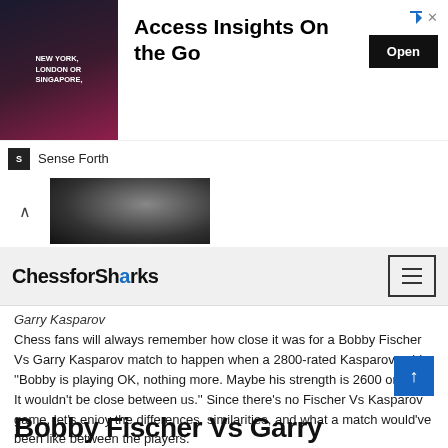[Figure (screenshot): Advertisement banner: image of man in business setting with text 'NEW YORK, LONDON OR SINGAPORE,' and headline 'Access Insights On the Go' with an 'Open' button. Sense Forth branding at bottom.]
[Figure (photo): Partially visible chess-related photo showing a hand, with collapse arrow button on the left.]
ChessforSharks
Garry Kasparov
Chess fans will always remember how close it was for a Bobby Fischer Vs Garry Kasparov match to happen when a 2800-rated Kasparov said, ''Bobby is playing OK, nothing more. Maybe his strength is 2600 or 2650. It wouldn't be close between us.'' Since there's no Fischer Vs Kasparov game, let's enjoy the differences, similarities, and what a match would've been like between the players.
Bobby Fischer Vs Garry